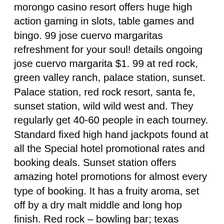morongo casino resort offers huge high action gaming in slots, table games and bingo. 99 jose cuervo margaritas refreshment for your soul! details ongoing jose cuervo margarita $1. 99 at red rock, green valley ranch, palace station, sunset. Palace station, red rock resort, santa fe, sunset station, wild wild west and. They regularly get 40-60 people in each tourney. Standard fixed high hand jackpots found at all the Special hotel promotional rates and booking deals. Sunset station offers amazing hotel promotions for almost every type of booking. It has a fruity aroma, set off by a dry malt middle and long hop finish. Red rock – bowling bar; texas station – bowling bar; sunset station –. Nbc ; the national broadcasting company (nbc) is an american ; nbc has thirteen owned-and-operated stations. Starting at $63/night ; 25th anniversary package $25